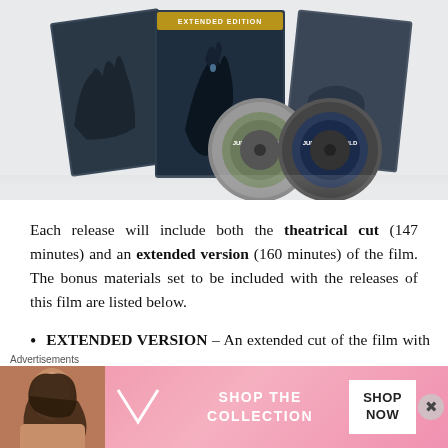[Figure (photo): Jurassic World Dominion steelbook Extended Edition product photo showing a trifold steelbook case with dinosaur imagery and two Blu-ray discs in front]
Each release will include both the theatrical cut (147 minutes) and an extended version (160 minutes) of the film. The bonus materials set to be included with the releases of this film are listed below.
EXTENDED VERSION – An extended cut of the film with 14 minutes of additional footage featuring more
[Figure (infographic): Victoria's Secret advertisement banner showing a model, the VS logo, SHOP THE COLLECTION text, and SHOP NOW button, with an Advertisements label above]